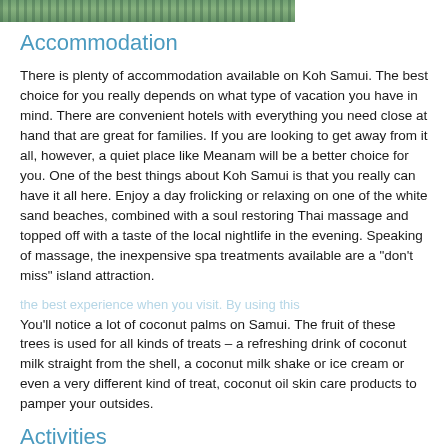[Figure (photo): Partial photo strip at top of page showing tropical scenery]
Accommodation
There is plenty of accommodation available on Koh Samui. The best choice for you really depends on what type of vacation you have in mind. There are convenient hotels with everything you need close at hand that are great for families. If you are looking to get away from it all, however, a quiet place like Meanam will be a better choice for you. One of the best things about Koh Samui is that you really can have it all here. Enjoy a day frolicking or relaxing on one of the white sand beaches, combined with a soul restoring Thai massage and topped off with a taste of the local nightlife in the evening. Speaking of massage, the inexpensive spa treatments available are a "don't miss" island attraction.
You'll notice a lot of coconut palms on Samui. The fruit of these trees is used for all kinds of treats – a refreshing drink of coconut milk straight from the shell, a coconut milk shake or ice cream or even a very different kind of treat, coconut oil skin care products to pamper your outsides.
Activities
Massage and beauty treatments, swimming, snorkeling,